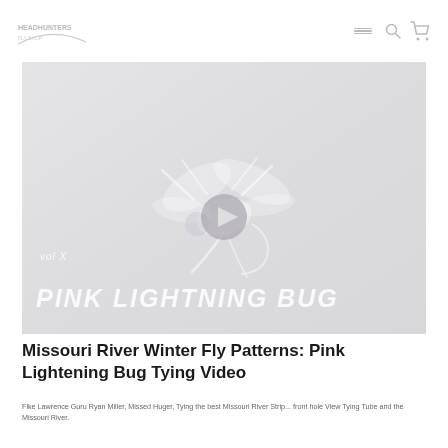Headhunters (logo) — navigation bar with hamburger menu, search, and cart icons
[Figure (screenshot): Video thumbnail showing a Pink Lightning Bug fly pattern on a pale grey/white background. 'vol X' text in italic top-left of video overlay. 'PINK LIGHTNING BUG' in large bold italic white text overlaid at bottom of thumbnail. A grey circular play button in the center.]
Missouri River Winter Fly Patterns: Pink Lightening Bug Tying Video
Fike Lawrence Guru Ryan Miller, Missed Huger, Tying the best Missouri River Strip... front hole View Tying Tube and the Missouri River.